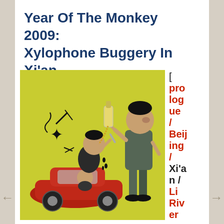Year Of The Monkey 2009: Xylophone Buggery In Xi'an
[Figure (illustration): Vintage cartoon illustration on yellow-green background showing two men and a red car. A taller man in a suit stands above forcing liquid from a bottle into the mouth of a smaller seated man, who is positioned over a red convertible car with a third figure visible inside the car.]
[ prologue / Beijing / Xi'an / Li River